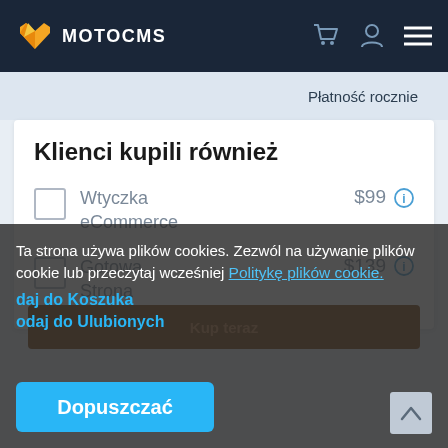MOTOCMS
Płatność rocznie
Klienci kupili również
Wtyczka eCommerce  $99
Gotowa Strona  $139
Ta strona używa plików cookies. Zezwól na używanie plików cookie lub przeczytaj wcześniej Politykę plików cookie.
Dopuszczać